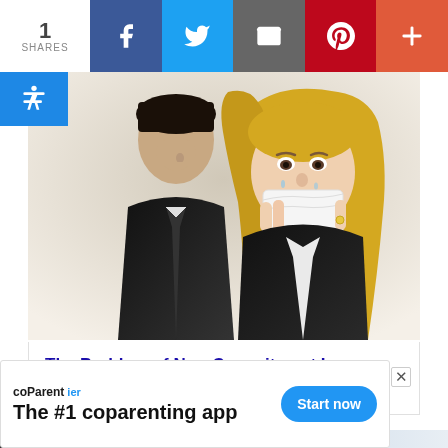1 SHARES — social share bar with Facebook, Twitter, Email, Pinterest, More buttons
[Figure (photo): A man and woman in black clothing. The woman has long blonde hair and is crying into a white tissue. The man stands slightly behind her looking down.]
The Problem of Non-Commitment In Relationships Post-Divorce
[Figure (photo): Partial view of bottom thumbnail images — left shows people in a dark setting, right shows a lighter interior scene.]
coParentier — The #1 coparenting app — Start now